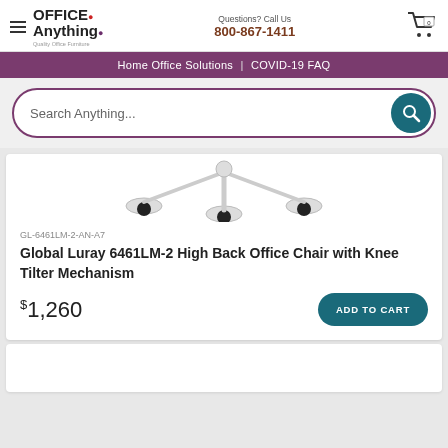Office Anything | Questions? Call Us 800-867-1411
Home Office Solutions | COVID-19 FAQ
Search Anything...
[Figure (photo): Partial view of an office chair showing the base and casters from above]
GL-6461LM-2-AN-A7
Global Luray 6461LM-2 High Back Office Chair with Knee Tilter Mechanism
$1,260
ADD TO CART